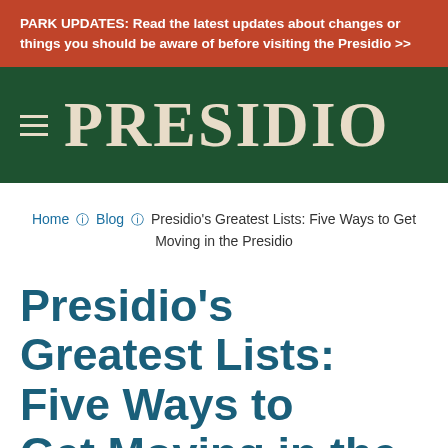PARK UPDATES: Read the latest updates about changes or things you should be aware of before visiting the Presidio >>
[Figure (logo): Presidio logo: hamburger menu icon followed by PRESIDIO in large serif text, on a dark green background]
Home > Blog > Presidio's Greatest Lists: Five Ways to Get Moving in the Presidio
Presidio's Greatest Lists: Five Ways to Get Moving in the Presidio